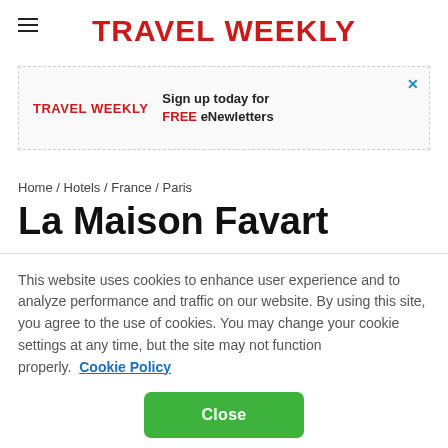TRAVEL WEEKLY
[Figure (infographic): Advertisement banner for Travel Weekly eNewletters sign-up. Shows Travel Weekly logo on left, text 'Sign up today for FREE eNewletters' on right, with a close X button.]
Home / Hotels / France / Paris
La Maison Favart
This website uses cookies to enhance user experience and to analyze performance and traffic on our website. By using this site, you agree to the use of cookies. You may change your cookie settings at any time, but the site may not function properly.  Cookie Policy
Close